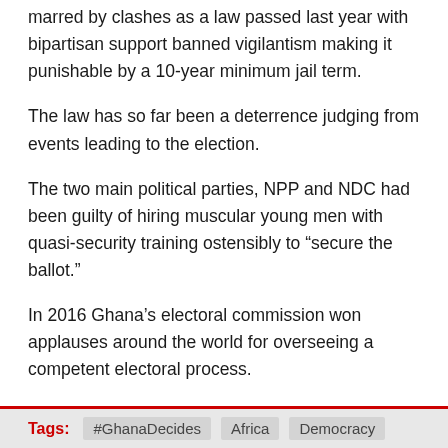marred by clashes as a law passed last year with bipartisan support banned vigilantism making it punishable by a 10-year minimum jail term.
The law has so far been a deterrence judging from events leading to the election.
The two main political parties, NPP and NDC had been guilty of hiring muscular young men with quasi-security training ostensibly to “secure the ballot.”
In 2016 Ghana’s electoral commission won applauses around the world for overseeing a competent electoral process.
The authorities are aware of this reputation and will want to ensure they meet the expectations.
The electoral commission, in a tweet, urged voters to be agents of peace.
Tags: #GhanaDecides   Africa   Democracy